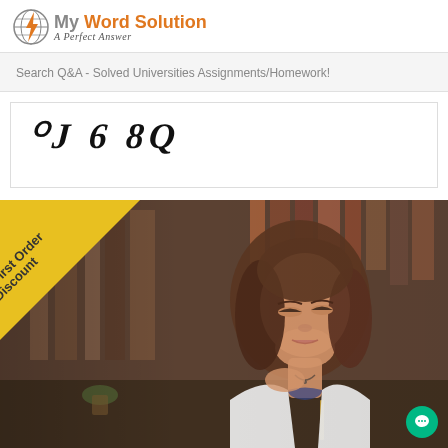[Figure (logo): My Word Solution logo with lightning bolt globe icon, orange text 'Word Solution' and subtitle 'A Perfect Answer' in italic serif]
Search Q&A - Solved Universities Assignments/Homework!
[Figure (other): CAPTCHA image showing distorted text: wJ 6 8Q]
[Figure (photo): Promotional banner photo of a young woman studying at a library desk, with a yellow diagonal 'First Order Discount' badge in the top-left corner and a green chat bubble button in the bottom-right corner]